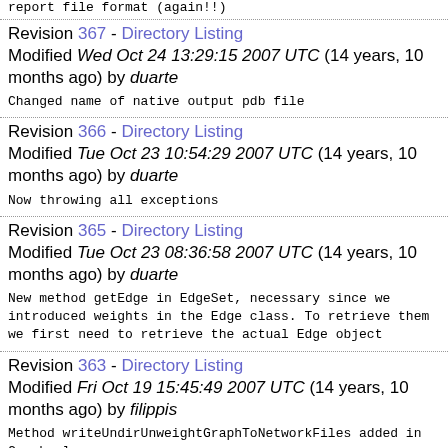report file format (again!!)
Revision 367 - Directory Listing
Modified Wed Oct 24 13:29:15 2007 UTC (14 years, 10 months ago) by duarte
Changed name of native output pdb file
Revision 366 - Directory Listing
Modified Tue Oct 23 10:54:29 2007 UTC (14 years, 10 months ago) by duarte
Now throwing all exceptions
Revision 365 - Directory Listing
Modified Tue Oct 23 08:36:58 2007 UTC (14 years, 10 months ago) by duarte
New method getEdge in EdgeSet, necessary since we introduced weights in the Edge class. To retrieve them we first need to retrieve the actual Edge object
Revision 363 - Directory Listing
Modified Fri Oct 19 15:45:49 2007 UTC (14 years, 10 months ago) by filippis
Method writeUndirUnweightGraphToNetworkFiles added in Graph class